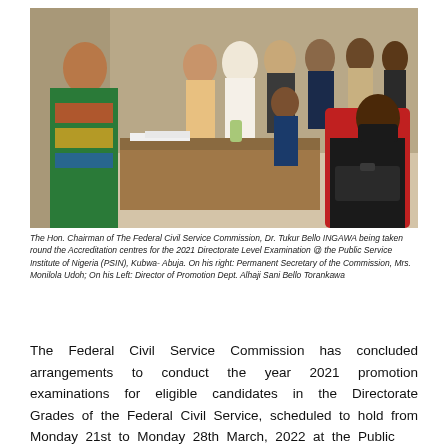[Figure (photo): The Hon. Chairman of The Federal Civil Service Commission, Dr. Tukur Bello INGAWA, being taken round accreditation centres. Several officials are visible; a woman in green and colourful print dress is at a desk on the left; a man in black suit wearing black mask is seated on a red chair on the right; a group of officials in white robes and suits stand in the background.]
The Hon. Chairman of The Federal Civil Service Commission, Dr. Tukur Bello INGAWA being taken round the Accreditation centres for the 2021 Directorate Level Examination @ the Public Service Institute of Nigeria (PSIN), Kubwa- Abuja. On his right: Permanent Secretary of the Commission, Mrs. Monilola Udoh; On his Left: Director of Promotion Dept. Alhaji Sani Bello Torankawa
The Federal Civil Service Commission has concluded arrangements to conduct the year 2021 promotion examinations for eligible candidates in the Directorate Grades of the Federal Civil Service, scheduled to hold from Monday 21st to Monday 28th March, 2022 at the Public